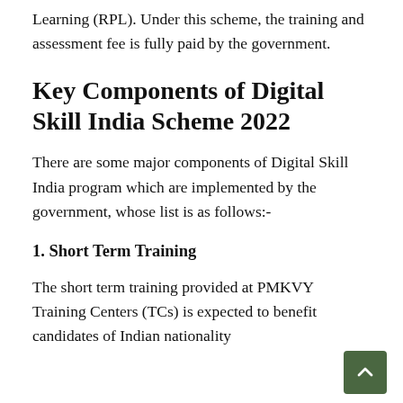Learning (RPL). Under this scheme, the training and assessment fee is fully paid by the government.
Key Components of Digital Skill India Scheme 2022
There are some major components of Digital Skill India program which are implemented by the government, whose list is as follows:-
1. Short Term Training
The short term training provided at PMKVY Training Centers (TCs) is expected to benefit candidates of Indian nationality